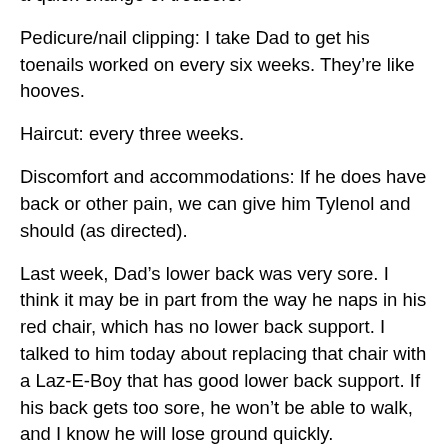a quick change of trousers.
Pedicure/nail clipping: I take Dad to get his toenails worked on every six weeks. They’re like hooves.
Haircut: every three weeks.
Discomfort and accommodations: If he does have back or other pain, we can give him Tylenol and should (as directed).
Last week, Dad’s lower back was very sore. I think it may be in part from the way he naps in his red chair, which has no lower back support. I talked to him today about replacing that chair with a Laz-E-Boy that has good lower back support. If his back gets too sore, he won’t be able to walk, and I know he will lose ground quickly.
I am also going to have a ramp built in the garage going in